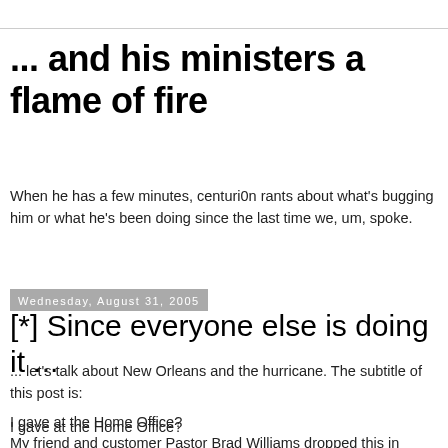... and his ministers a flame of fire
When he has a few minutes, centuri0n rants about what's bugging him or what he's been doing since the last time we, um, spoke.
Wednesday, August 31, 2005
[*] Since everyone else is doing it ...
... let's talk about New Orleans and the hurricane. The subtitle of this post is:
I gave at the Home Office?
I gave at the Home Office?
My friend and customer Pastor Brad Williams dropped this in